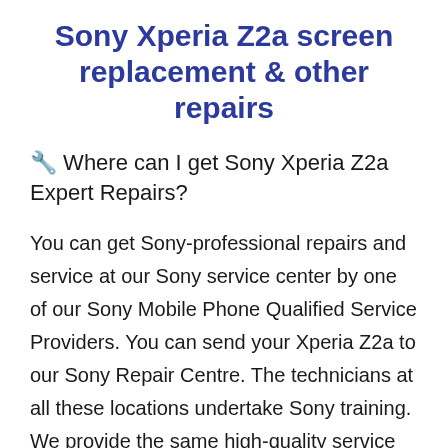Sony Xperia Z2a screen replacement & other repairs
🔧 Where can I get Sony Xperia Z2a Expert Repairs?
You can get Sony-professional repairs and service at our Sony service center by one of our Sony Mobile Phone Qualified Service Providers. You can send your Xperia Z2a to our Sony Repair Centre. The technicians at all these locations undertake Sony training. We provide the same high-quality service using real AAA grade glass screen replacement parts for your Sony Xperia